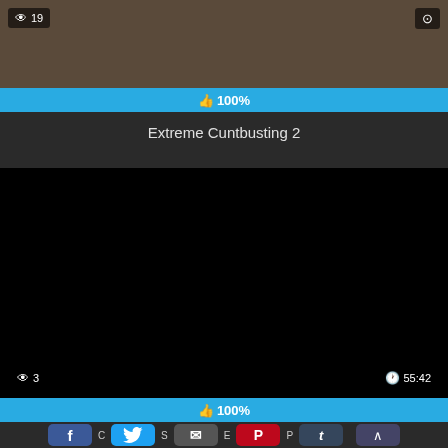[Figure (screenshot): Top video thumbnail with dark brownish background, view count badge showing eye icon and 19 on top-left, stop/settings icon on top-right, and a cyan/blue rating bar showing thumbs up 100% below.]
Extreme Cuntbusting 2
[Figure (screenshot): Black video player area with view count badge showing eye icon and 3 on bottom-left, clock icon and 55:42 duration on bottom-right, and a cyan/blue rating bar showing thumbs up 100% below.]
[Figure (screenshot): Social share buttons row: Facebook (blue), Twitter (light blue), Email (dark gray), Pinterest (red), Tumblr (dark), scroll-to-top arrow (blue). Second row: Reddit (orange-red), Blogger (orange), WordPress (dark gray), VK (blue-gray), More/Plus (blue).]